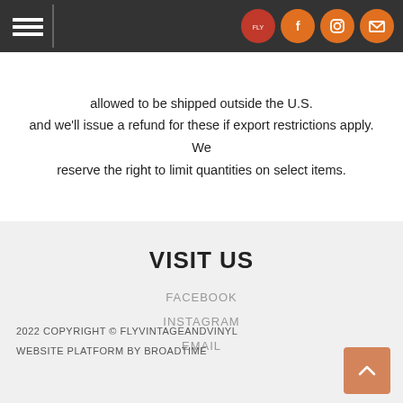Navigation header with hamburger menu and social icons (logo, Facebook, Instagram, Email)
allowed to be shipped outside the U.S. and we'll issue a refund for these if export restrictions apply. We reserve the right to limit quantities on select items.
VISIT US
FACEBOOK
INSTAGRAM
EMAIL
2022 COPYRIGHT © FLYVINTAGEANDVINYL
WEBSITE PLATFORM BY BROADTIME